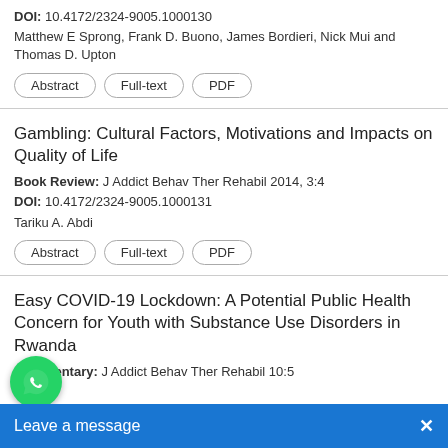DOI: 10.4172/2324-9005.1000130
Matthew E Sprong, Frank D. Buono, James Bordieri, Nick Mui and Thomas D. Upton
Abstract | Full-text | PDF
Gambling: Cultural Factors, Motivations and Impacts on Quality of Life
Book Review: J Addict Behav Ther Rehabil 2014, 3:4
DOI: 10.4172/2324-9005.1000131
Tariku A. Abdi
Abstract | Full-text | PDF
Easy COVID-19 Lockdown: A Potential Public Health Concern for Youth with Substance Use Disorders in Rwanda
Commentary: J Addict Behav Ther Rehabil 10:5
Ngamije
Abstract | Full-text | PDF